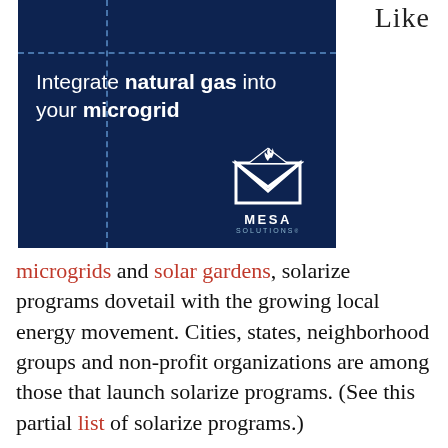Like
[Figure (illustration): Advertisement for Mesa Solutions on dark navy blue background. Shows dashed guide lines forming a grid. Text reads: Integrate natural gas into your microgrid. Mesa Solutions logo (white envelope/flame icon) in bottom right.]
microgrids and solar gardens, solarize programs dovetail with the growing local energy movement. Cities, states, neighborhood groups and non-profit organizations are among those that launch solarize programs. (See this partial list of solarize programs.)